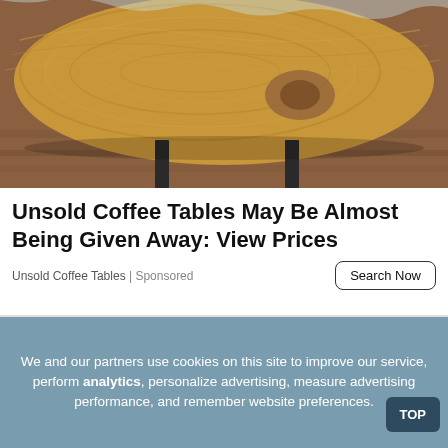[Figure (photo): Close-up photo of a live-edge wood coffee table slab with natural grain patterns and dark metal legs on a wood floor]
Unsold Coffee Tables May Be Almost Being Given Away: View Prices
Unsold Coffee Tables | Sponsored
Search Now
[Figure (photo): Photo of a person with bangs/fringe hairstyle, partially obscured by a cookie consent overlay]
We and our partners use cookies on this site to improve our service, perform analytics, personalize advertising, measure advertising performance, and remember website preferences.
TOP